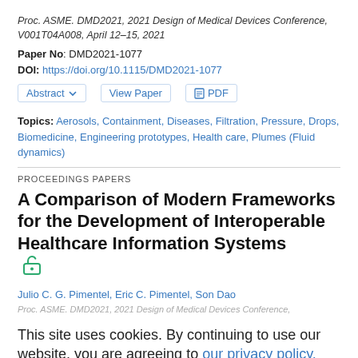Proc. ASME. DMD2021, 2021 Design of Medical Devices Conference, V001T04A008, April 12–15, 2021
Paper No: DMD2021-1077
DOI: https://doi.org/10.1115/DMD2021-1077
Abstract   View Paper   PDF
Topics: Aerosols, Containment, Diseases, Filtration, Pressure, Drops, Biomedicine, Engineering prototypes, Health care, Plumes (Fluid dynamics)
PROCEEDINGS PAPERS
A Comparison of Modern Frameworks for the Development of Interoperable Healthcare Information Systems
Julio C. G. Pimentel, Eric C. Pimentel, Son Dao
Proc. ASME. DMD2021, 2021 Design of Medical Devices Conference,
This site uses cookies. By continuing to use our website, you are agreeing to our privacy policy. Accept